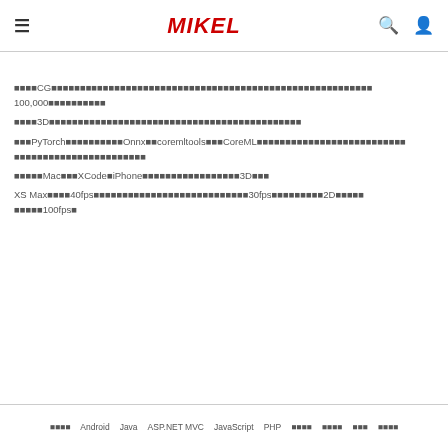MIKEL
■■■■CG■■■■■■■■■■■■■■■■■■■■■■■■■■■■■■■■■■■■■■■■■■■■■■■■■■■■■■100,000■■■■■■■■■■
■■■■3D■■■■■■■■■■■■■■■■■■■■■■■■■■■■■■■■■■■■■■■■■
■■■PyTorch■■■■■■■■■■Onnx■■coremltools■■■CoreML■■■■■■■■■■■■■■■■■■■■■■■■■■■■■■■■■
■■■■■Mac■■■XCode■iPhone■■■■■■■■■■■■■■■■■3D■■■
XS Max■■■■40fps■■■■■■■■■■■■■■■■■■■■■■■■■■30fps■■■■■■■■■2D■■■■■■■■■■100fps■
■■■■  Android  Java  ASP.NET MVC  JavaScript  PHP  ■■■■  ■■■■  ■■■  ■■■■